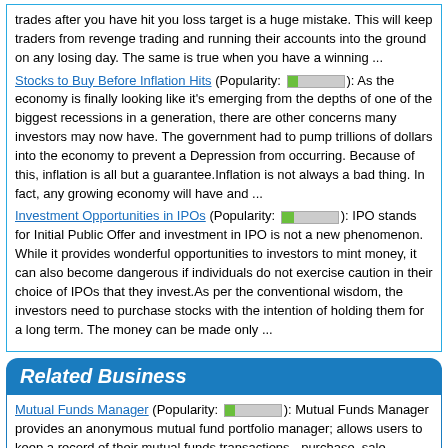trades after you have hit you loss target is a huge mistake. This will keep traders from revenge trading and running their accounts into the ground on any losing day. The same is true when you have a winning ...
Stocks to Buy Before Inflation Hits (Popularity: [bar]): As the economy is finally looking like it's emerging from the depths of one of the biggest recessions in a generation, there are other concerns many investors may now have. The government had to pump trillions of dollars into the economy to prevent a Depression from occurring. Because of this, inflation is all but a guarantee.Inflation is not always a bad thing. In fact, any growing economy will have and ...
Investment Opportunities in IPOs (Popularity: [bar]): IPO stands for Initial Public Offer and investment in IPO is not a new phenomenon. While it provides wonderful opportunities to investors to mint money, it can also become dangerous if individuals do not exercise caution in their choice of IPOs that they invest.As per the conventional wisdom, the investors need to purchase stocks with the intention of holding them for a long term. The money can be made only ...
Related Business
Mutual Funds Manager (Popularity: [bar]): Mutual Funds Manager provides an anonymous mutual fund portfolio manager; allows users to keep a record of their mutual funds transactions - purchase, sale, dividend and capital gains. Includes a transactions search feature.
Kotak Securities Ltd. (Popularity: [bar]): Kotak Securities enables seamless investments in mutual funds in India and helps you invest in best mutual funds through its research. And to make this choice of choosing between which mutual funds scheme to invest in,we offer you our exclusive mutual fund research.
UTI Mutual Funds India (Popularity: [bar]): UTI Mutual Funds India is